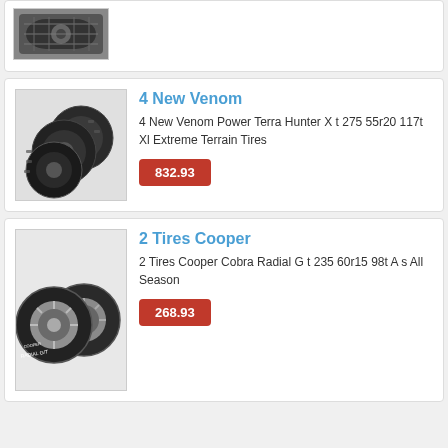[Figure (photo): Partial view of a tire product image (top of card cut off)]
[Figure (photo): Stack of 4 Venom Power Terra Hunter X t all-terrain tires]
4 New Venom
4 New Venom Power Terra Hunter X t 275 55r20 117t Xl Extreme Terrain Tires
832.93
[Figure (photo): Two Cooper Cobra Radial G t tires with silver spoke wheels]
2 Tires Cooper
2 Tires Cooper Cobra Radial G t 235 60r15 98t A s All Season
268.93